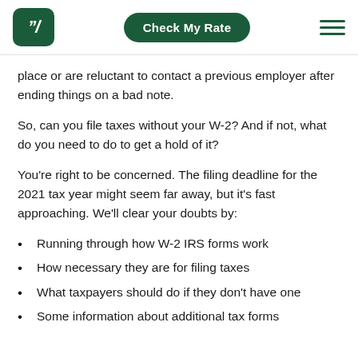Check My Rate
place or are reluctant to contact a previous employer after ending things on a bad note.
So, can you file taxes without your W-2? And if not, what do you need to do to get a hold of it?
You're right to be concerned. The filing deadline for the 2021 tax year might seem far away, but it's fast approaching. We'll clear your doubts by:
Running through how W-2 IRS forms work
How necessary they are for filing taxes
What taxpayers should do if they don't have one
Some information about additional tax forms